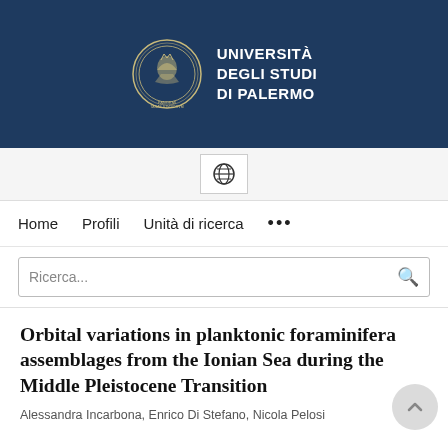[Figure (logo): Università degli Studi di Palermo logo with university seal and text on dark blue background]
Home   Profili   Unità di ricerca   ...
Orbital variations in planktonic foraminifera assemblages from the Ionian Sea during the Middle Pleistocene Transition
Alessandra Incarbona, Enrico Di Stefano, Nicola Pelosi